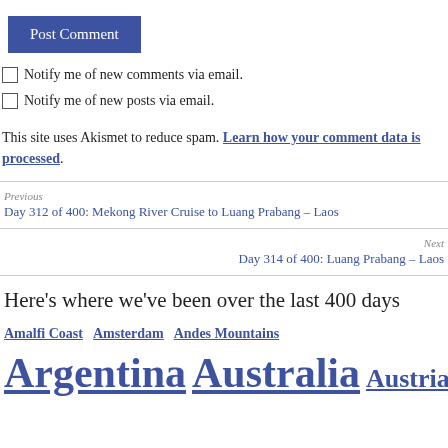Post Comment
Notify me of new comments via email.
Notify me of new posts via email.
This site uses Akismet to reduce spam. Learn how your comment data is processed.
Previous
Day 312 of 400: Mekong River Cruise to Luang Prabang – Laos
Next
Day 314 of 400: Luang Prabang – Laos
Here's where we've been over the last 400 days
Amalfi Coast  Amsterdam  Andes Mountains
Argentina  Australia  Austria